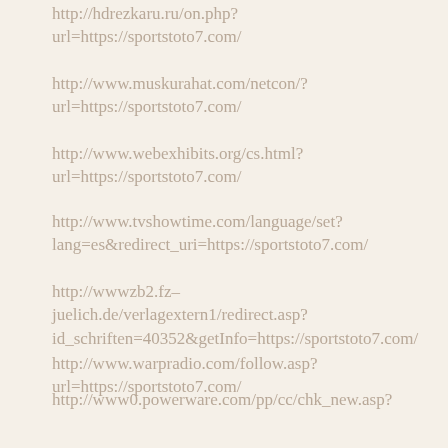http://hdrezkaru.ru/on.php?url=https://sportstoto7.com/
http://www.muskurahat.com/netcon/?url=https://sportstoto7.com/
http://www.webexhibits.org/cs.html?url=https://sportstoto7.com/
http://www.tvshowtime.com/language/set?lang=es&redirect_uri=https://sportstoto7.com/
http://wwwzb2.fz-juelich.de/verlagextern1/redirect.asp?id_schriften=40352&getInfo=https://sportstoto7.com/
http://www.warpradio.com/follow.asp?url=https://sportstoto7.com/
http://www0.powerware.com/pp/cc/chk_new.asp?T=1&url=https://sportstoto7.com/
http://www.uniflip.com/trackbannerclick.php?url=https://sportstoto7.com/